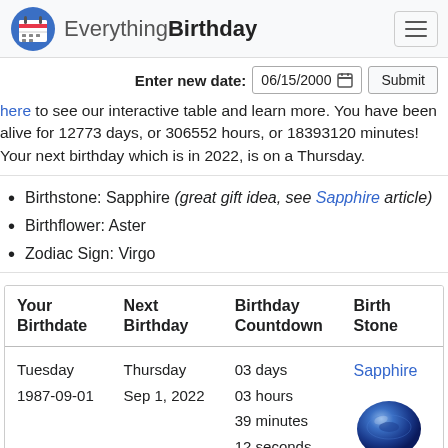EverythingBirthday
Enter new date: 06/15/2000  Submit
here to see our interactive table and learn more. You have been alive for 12773 days, or 306552 hours, or 18393120 minutes! Your next birthday which is in 2022, is on a Thursday.
Birthstone: Sapphire (great gift idea, see Sapphire article)
Birthflower: Aster
Zodiac Sign: Virgo
| Your Birthdate | Next Birthday | Birthday Countdown | Birth Stone |
| --- | --- | --- | --- |
| Tuesday
1987-09-01 | Thursday
Sep 1, 2022 | 03 days
03 hours
39 minutes
12 seconds | Sapphire |